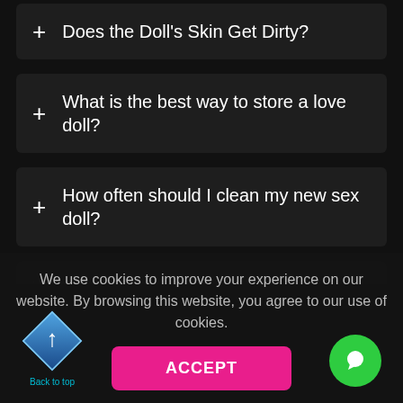+ Does the Doll's Skin Get Dirty?
+ What is the best way to store a love doll?
+ How often should I clean my new sex doll?
We use cookies to improve your experience on our website. By browsing this website, you agree to our use of cookies.
ACCEPT